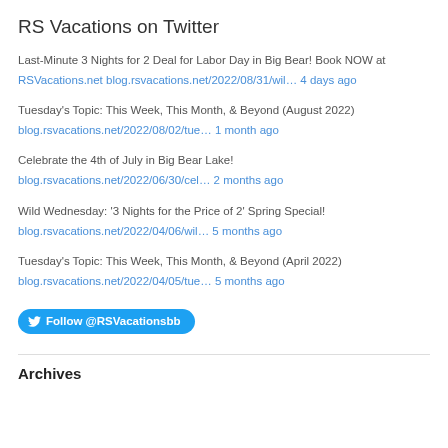RS Vacations on Twitter
Last-Minute 3 Nights for 2 Deal for Labor Day in Big Bear! Book NOW at RSVacations.net blog.rsvacations.net/2022/08/31/wil… 4 days ago
Tuesday's Topic: This Week, This Month, & Beyond (August 2022) blog.rsvacations.net/2022/08/02/tue… 1 month ago
Celebrate the 4th of July in Big Bear Lake! blog.rsvacations.net/2022/06/30/cel… 2 months ago
Wild Wednesday: '3 Nights for the Price of 2' Spring Special! blog.rsvacations.net/2022/04/06/wil… 5 months ago
Tuesday's Topic: This Week, This Month, & Beyond (April 2022) blog.rsvacations.net/2022/04/05/tue… 5 months ago
Follow @RSVacationsbb
Archives